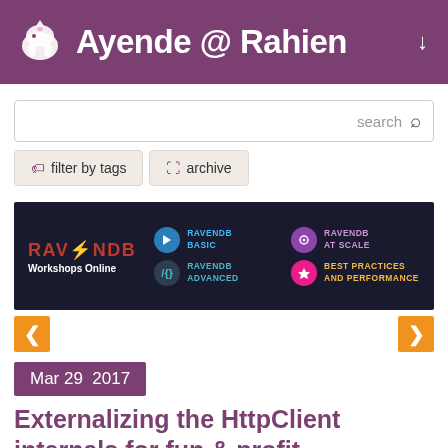Ayende @ Rahien
[Figure (screenshot): Search bar with 'search' label and magnifying glass icon]
[Figure (infographic): RavenDB Workshops Online banner with icons for RavenDB Basic, RavenDB at Scale, RavenDB Advanced, Best Practices and Performance]
Mar 29  2017
Externalizing the HttpClient internals for fun & profit
time to read 2 min | 368 words